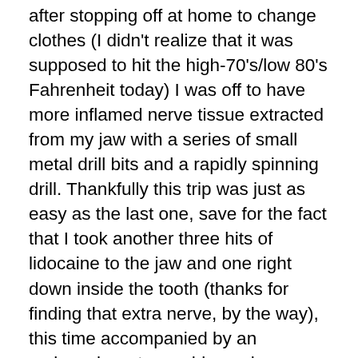after stopping off at home to change clothes (I didn't realize that it was supposed to hit the high-70's/low 80's Fahrenheit today) I was off to have more inflamed nerve tissue extracted from my jaw with a series of small metal drill bits and a rapidly spinning drill. Thankfully this trip was just as easy as the last one, save for the fact that I took another three hits of lidocaine to the jaw and one right down inside the tooth (thanks for finding that extra nerve, by the way), this time accompanied by an ominously wet crunching noise coming from somewhere below the gum line. The deed was as rapid as it usually is under Dr. Suh's care, and much easier to handle thanks to the placement of this particular tooth.